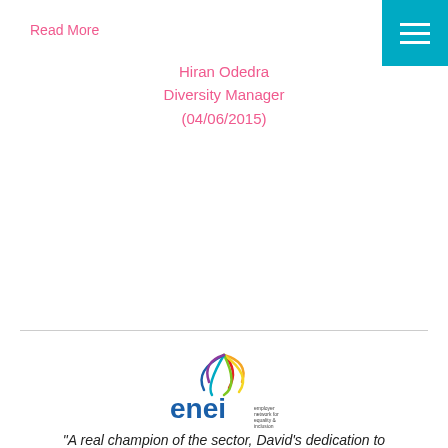Read More
Hiran Odedra
Diversity Manager
(04/06/2015)
[Figure (logo): enei logo — colorful starburst/flower graphic above the text 'enei' in blue with small tagline text]
'A real champion of the sector, David's dedication to